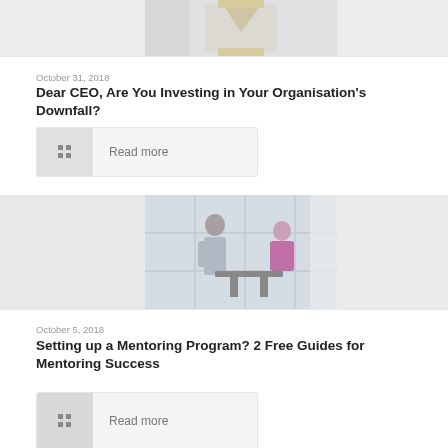[Figure (photo): Partial view of an hourglass on a light background (top of image cropped)]
October 31, 2018
Dear CEO, Are You Investing in Your Organisation's Downfall?
[Figure (other): Read more button with grid icon]
[Figure (photo): Two people having a meeting at a table near large windows in an office setting]
October 5, 2018
Setting up a Mentoring Program? 2 Free Guides for Mentoring Success
[Figure (other): Read more button with grid icon (partially visible)]